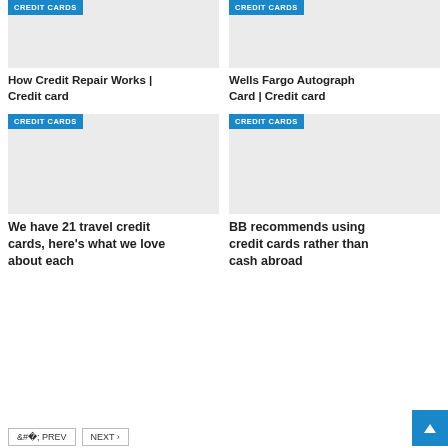[Figure (screenshot): Card image placeholder with CREDIT CARDS badge - How Credit Repair Works]
[Figure (screenshot): Card image placeholder with CREDIT CARDS badge - Wells Fargo Autograph Card]
How Credit Repair Works | Credit card
Wells Fargo Autograph Card | Credit card
[Figure (screenshot): Card image placeholder with CREDIT CARDS badge - We have 21 travel credit cards]
[Figure (screenshot): Card image placeholder with CREDIT CARDS badge - BB recommends using credit cards]
We have 21 travel credit cards, here's what we love about each
BB recommends using credit cards rather than cash abroad
< PREV
NEXT >